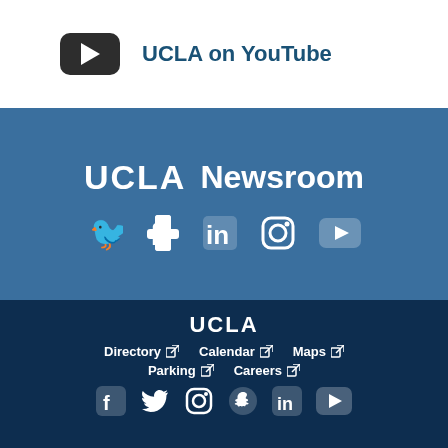UCLA on YouTube
[Figure (logo): UCLA Newsroom logo with social media icons (Twitter, Facebook, LinkedIn, Instagram, YouTube) on blue background]
UCLA — Directory, Calendar, Maps, Parking, Careers with social media icons (Facebook, Twitter, Instagram, Snapchat, LinkedIn, YouTube) on dark navy background